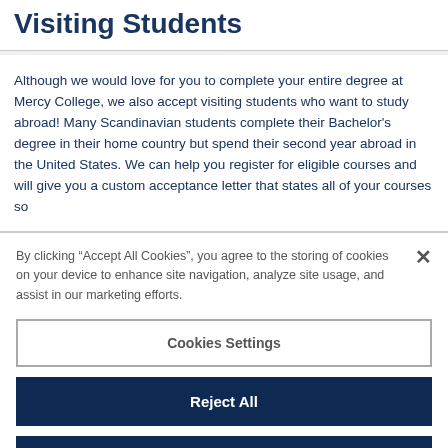Visiting Students
Although we would love for you to complete your entire degree at Mercy College, we also accept visiting students who want to study abroad! Many Scandinavian students complete their Bachelor's degree in their home country but spend their second year abroad in the United States. We can help you register for eligible courses and will give you a custom acceptance letter that states all of your courses so
By clicking “Accept All Cookies”, you agree to the storing of cookies on your device to enhance site navigation, analyze site usage, and assist in our marketing efforts.
Cookies Settings
Reject All
Accept All Cookies